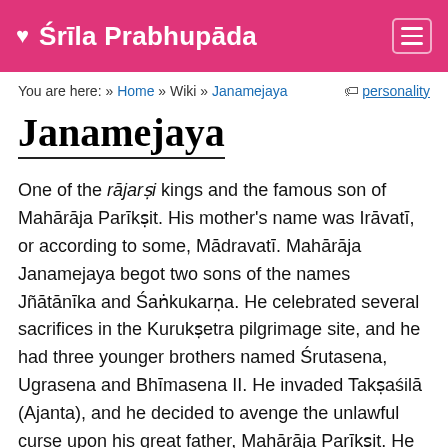Śrīla Prabhupāda
You are here: » Home » Wiki » Janamejaya   personality
Janamejaya
One of the rājarṣi kings and the famous son of Mahārāja Parīkṣit. His mother's name was Irāvatī, or according to some, Mādravatī. Mahārāja Janamejaya begot two sons of the names Jñātānīka and Śaṅkukarṇa. He celebrated several sacrifices in the Kurukṣetra pilgrimage site, and he had three younger brothers named Śrutasena, Ugrasena and Bhīmasena II. He invaded Takṣaśilā (Ajanta), and he decided to avenge the unlawful curse upon his great father, Mahārāja Parīkṣit. He performed a great sacrifice called Sarpa-yajña, to kill the race of